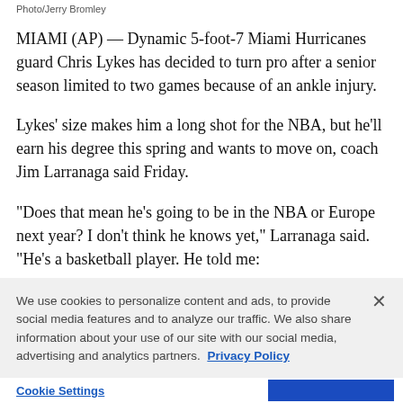Photo/Jerry Bromley
MIAMI (AP) — Dynamic 5-foot-7 Miami Hurricanes guard Chris Lykes has decided to turn pro after a senior season limited to two games because of an ankle injury.
Lykes' size makes him a long shot for the NBA, but he'll earn his degree this spring and wants to move on, coach Jim Larranaga said Friday.
“Does that mean he’s going to be in the NBA or Europe next year? I don’t think he knows yet,” Larranaga said. “He’s a basketball player. He told me:
We use cookies to personalize content and ads, to provide social media features and to analyze our traffic. We also share information about your use of our site with our social media, advertising and analytics partners. Privacy Policy